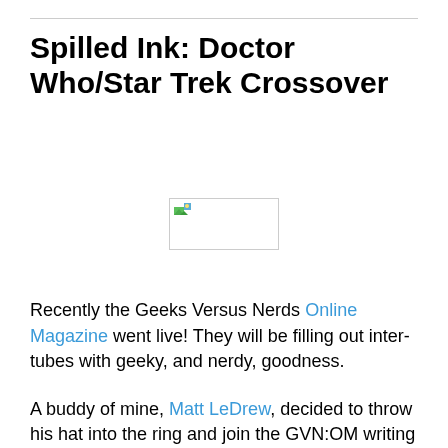Spilled Ink: Doctor Who/Star Trek Crossover
[Figure (illustration): A broken/placeholder image thumbnail with a small green and blue icon in the top-left corner, surrounded by a light gray border.]
Recently the Geeks Versus Nerds Online Magazine went live!  They will be filling out inter-tubes with geeky, and nerdy, goodness.
A buddy of mine, Matt LeDrew, decided to throw his hat into the ring and join the GVN:OM writing staff.  He’s a energetic writer who just bombarded me